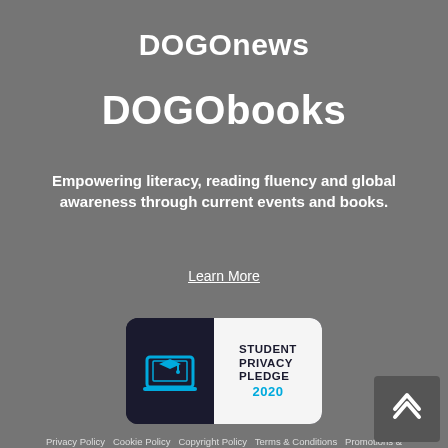DOGOnews
DOGObooks
Empowering literacy, reading fluency and global awareness through current events and books.
Learn More
[Figure (logo): Student Privacy Pledge 2020 badge — dark background left half with laptop icon, white right half with text STUDENT PRIVACY PLEDGE 2020]
Privacy Policy  Cookie Policy  Copyright Policy  Terms & Conditions  Promotions & Sponsorships
© 2022 DOGO Media, Inc., All rights reserved.
Products
PRO Teachers